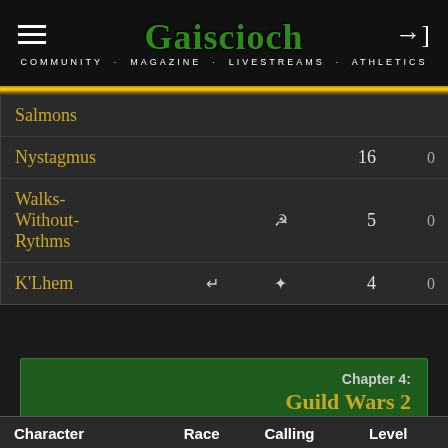Gaiscioch — COMMUNITY MAGAZINE LIVESTREAMS ATHLETICS
| Character | Race | Calling | Level |  |
| --- | --- | --- | --- | --- |
| Salmons |  |  |  |  |
| Nystagmus |  |  | 16 | 0 |
| Walks-Without-Rythms |  | ⚙ | 5 | 0 |
| K'Lhem | ↗ | ✦ | 4 | 0 |
Chapter 4: Guild Wars 2
| Character | Race | Calling | Level |  |  |
| --- | --- | --- | --- | --- | --- |
| Agatha Rottenclaw | 🔴 |  | 80 | 0 | 0 |